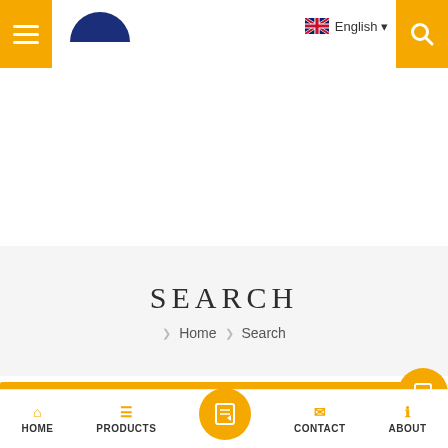[Figure (screenshot): Website header with hamburger menu button (yellow), blue arch logo, English language selector with UK flag, and yellow search button]
SEARCH
❯ Home ❯ Search
Maintain about hot melt glue machine
[Figure (screenshot): Bottom navigation bar with HOME, PRODUCTS, center circular button (yellow), CONTACT, ABOUT icons]